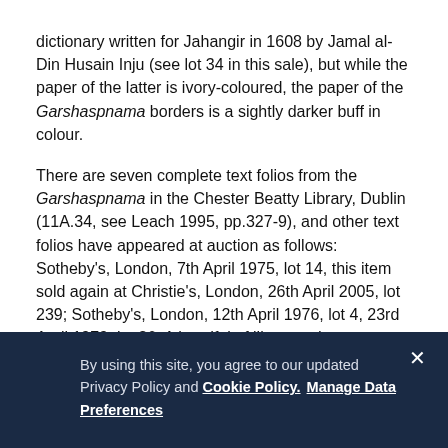dictionary written for Jahangir in 1608 by Jamal al-Din Husain Inju (see lot 34 in this sale), but while the paper of the latter is ivory-coloured, the paper of the Garshaspnama borders is a sightly darker buff in colour.
There are seven complete text folios from the Garshaspnama in the Chester Beatty Library, Dublin (11A.34, see Leach 1995, pp.327-9), and other text folios have appeared at auction as follows: Sotheby's, London, 7th April 1975, lot 14, this item sold again at Christie's, London, 26th April 2005, lot 239; Sotheby's, London, 12th April 1976, lot 4, 23rd April 1979, lot 36. A handful of illustrated pages survive, including one in the Los Angeles County Museum of Art (Pal 1993, no.68), one in the Cleveland Museum of Art (45.171, Leach 1986, no.21), two sold by P and D Colnaghi in 1976 (Persian and Mughal Art, no.88), and one sold at Sotheby's, London, 7th December 1971, lot 188A, and again 28th April 2004, lot 57.
By using this site, you agree to our updated Privacy Policy and Cookie Policy. Manage Data Preferences